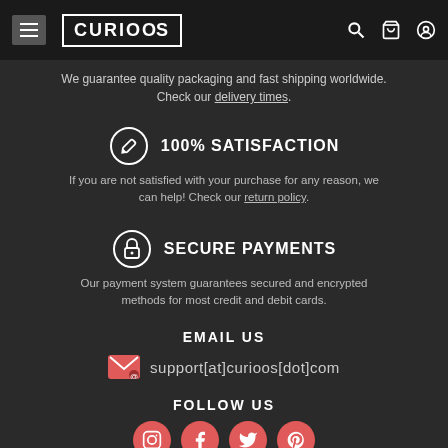CURIOSS
We guarantee quality packaging and fast shipping worldwide. Check our delivery times.
100% SATISFACTION
If you are not satisfied with your purchase for any reason, we can help! Check our return policy.
SECURE PAYMENTS
Our payment system guarantees secured and encrypted methods for most credit and debit cards.
EMAIL US
support[at]curioos[dot]com
FOLLOW US